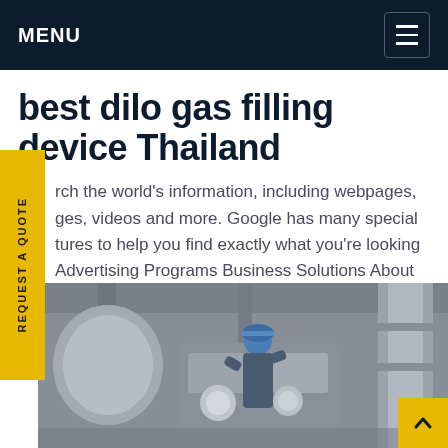MENU
best dilo gas filling device Thailand
rch the world's information, including webpages, ges, videos and more. Google has many special tures to help you find exactly what you're looking Advertising Programs Business Solutions About ogle GoogleGet price
[Figure (photo): A worker in a blue hard hat working on industrial gas filling equipment and large pipes in a facility.]
REQUEST A QUOTE